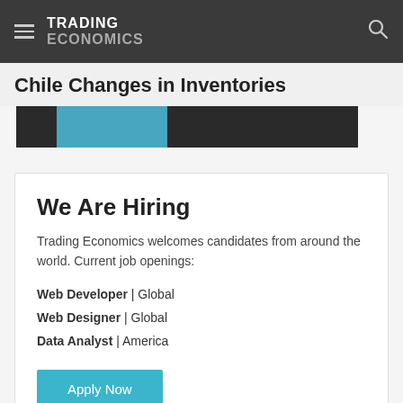TRADING ECONOMICS
Chile Changes in Inventories
[Figure (other): Dark chart area with blue navigation/tab bar visible at top]
We Are Hiring
Trading Economics welcomes candidates from around the world. Current job openings:
Web Developer | Global
Web Designer | Global
Data Analyst | America
Apply Now